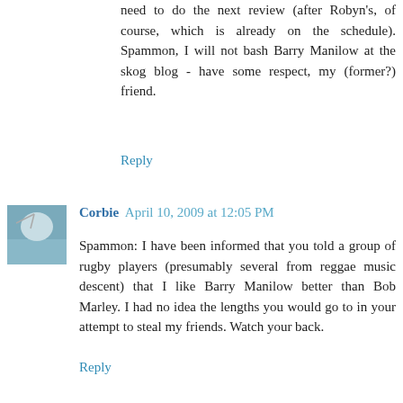need to do the next review (after Robyn's, of course, which is already on the schedule). Spammon, I will not bash Barry Manilow at the skog blog - have some respect, my (former?) friend.
Reply
Corbie  April 10, 2009 at 12:05 PM
Spammon: I have been informed that you told a group of rugby players (presumably several from reggae music descent) that I like Barry Manilow better than Bob Marley. I had no idea the lengths you would go to in your attempt to steal my friends. Watch your back.
Reply
Spammon  April 10, 2009 at 12:46 PM
Crobie - Look, you said it. Not me. And after such blasphemy, it should be you that should be watching your back. <3
Reply